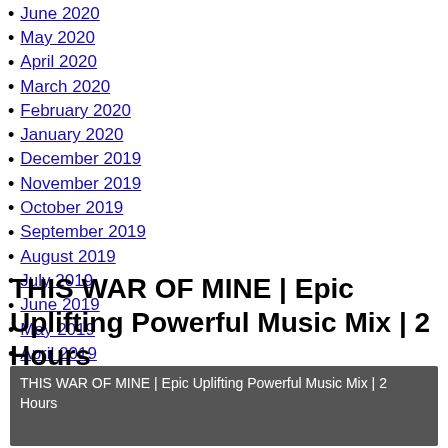June 2020
May 2020
April 2020
March 2020
February 2020
January 2020
December 2019
November 2019
October 2019
September 2019
August 2019
July 2019
June 2019
May 2019
April 2019
THIS WAR OF MINE | Epic Uplifting Powerful Music Mix | 2 Hours
[Figure (screenshot): Video thumbnail showing dark grey background with white text: THIS WAR OF MINE | Epic Uplifting Powerful Music Mix | 2 Hours]